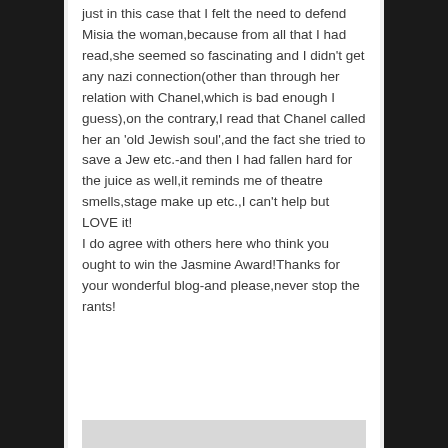just in this case that I felt the need to defend Misia the woman,because from all that I had read,she seemed so fascinating and I didn't get any nazi connection(other than through her relation with Chanel,which is bad enough I guess),on the contrary,I read that Chanel called her an 'old Jewish soul',and the fact she tried to save a Jew etc.-and then I had fallen hard for the juice as well,it reminds me of theatre smells,stage make up etc.,I can't help but LOVE it!
I do agree with others here who think you ought to win the Jasmine Award!Thanks for your wonderful blog-and please,never stop the rants!